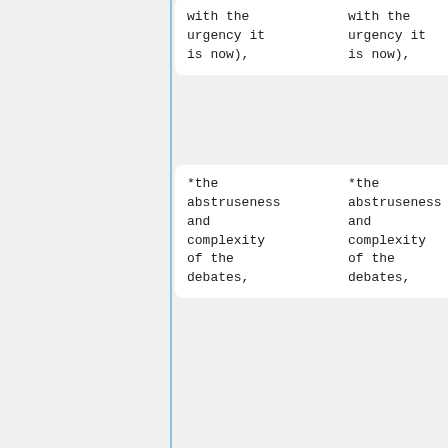with the urgency it is now),
with the urgency it is now),
*the abstruseness and complexity of the debates,
*the abstruseness and complexity of the debates,
*the impossibility of following them through a mailing list context ("who's supporting what now?")
*the impossibility of following them through a mailing list context ("who's supporting what now?")